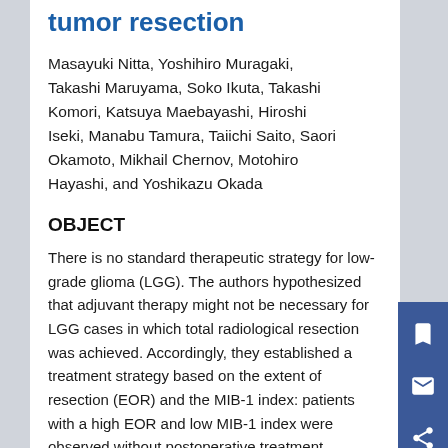tumor resection
Masayuki Nitta, Yoshihiro Muragaki, Takashi Maruyama, Soko Ikuta, Takashi Komori, Katsuya Maebayashi, Hiroshi Iseki, Manabu Tamura, Taiichi Saito, Saori Okamoto, Mikhail Chernov, Motohiro Hayashi, and Yoshikazu Okada
OBJECT
There is no standard therapeutic strategy for low-grade glioma (LGG). The authors hypothesized that adjuvant therapy might not be necessary for LGG cases in which total radiological resection was achieved. Accordingly, they established a treatment strategy based on the extent of resection (EOR) and the MIB-1 index: patients with a high EOR and low MIB-1 index were observed without postoperative treatment, whereas those with a low EOR and/or high MIB-1 index received radiotherapy (RT) and/or